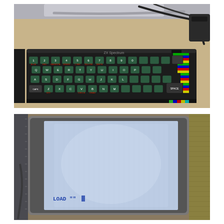[Figure (photo): ZX Spectrum home computer keyboard sitting on a desk/table surface with cables and a monitor visible in the background. The keyboard is black with rubber keys and the distinctive rainbow stripe logo on the right side.]
[Figure (photo): CRT monitor displaying a light blue screen with the text 'LOAD ""' visible in the lower left area, indicating a ZX Spectrum BASIC prompt. The monitor is gray/beige colored and sits on a surface with a textured background visible on the right.]